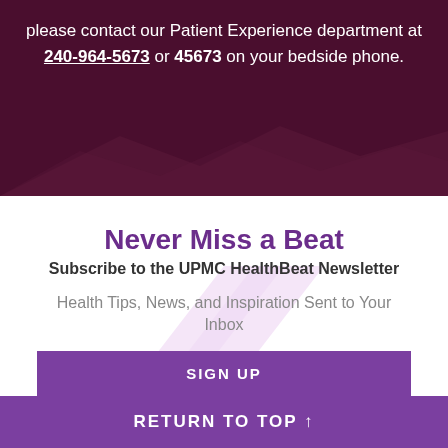please contact our Patient Experience department at 240-964-5673 or 45673 on your bedside phone.
Never Miss a Beat
Subscribe to the UPMC HealthBeat Newsletter
Health Tips, News, and Inspiration Sent to Your Inbox
SIGN UP
RETURN TO TOP ↑